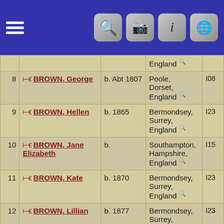Navigation header with hamburger menu and icons
| # | Name | Birth Date | Birth Place | ID |
| --- | --- | --- | --- | --- |
|  |  |  | England |  |
| 8 | BROWN, George | b. Abt 1807 | Poole, Dorset, England | I08 |
| 9 | BROWN, Hellen | b. 1865 | Bermondsey, Surrey, England | I23 |
| 10 | BROWN, Jane Elizabeth | b. | Southampton, Hampshire, England | I15 |
| 11 | BROWN, Kate | b. 1870 | Bermondsey, Surrey, England | I23 |
| 12 | BROWN, Lillian | b. 1877 | Bermondsey, Surrey, England | I23 |
| 13 | BROWN, Louisa |  |  | I05 |
| 14 | BROWN, Mary | b. Abt 1868 | Oakley, Hampshire, England | I17 |
| 15 | BROWN, Sarah |  |  | I04 |
| 16 | BROWN, Sarah |  | Bermondsey |  |